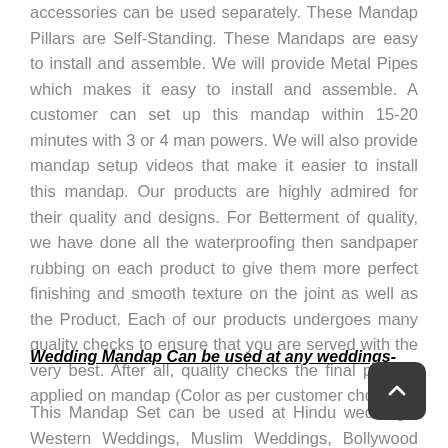accessories can be used separately. These Mandap Pillars are Self-Standing. These Mandaps are easy to install and assemble. We will provide Metal Pipes which makes it easy to install and assemble. A customer can set up this mandap within 15-20 minutes with 3 or 4 man powers. We will also provide mandap setup videos that make it easier to install this mandap. Our products are highly admired for their quality and designs. For Betterment of quality, we have done all the waterproofing then sandpaper rubbing on each product to give them more perfect finishing and smooth texture on the joint as well as the Product. Each of our products undergoes many quality checks to ensure that you are served with the very best. After all, quality checks the final paint is applied on mandap (Color as per customer choice).
Wedding Mandap Can be used at any weddings-
This Mandap Set can be used at Hindu weddings, Western Weddings, Muslim Weddings, Bollywood Weddings, Gujarati